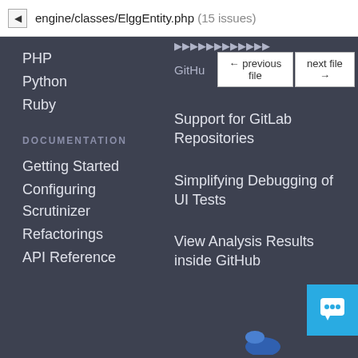engine/classes/ElggEntity.php (15 issues)
PHP
Python
Ruby
DOCUMENTATION
Getting Started
Configuring Scrutinizer
Refactorings
API Reference
← previous file   next file →
GitHu...
Support for GitLab Repositories
Simplifying Debugging of UI Tests
View Analysis Results inside GitHub
[Figure (illustration): Blue chat/support button icon in bottom right corner, and partial logo at bottom center]